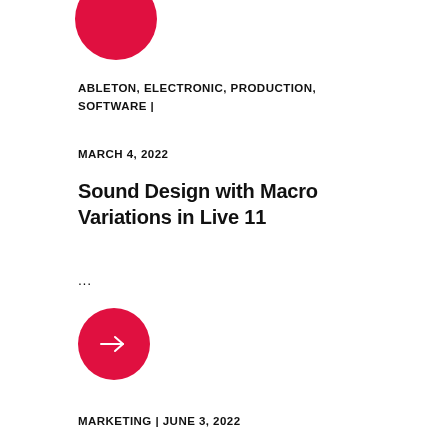[Figure (illustration): Red circle partially visible at top of page]
ABLETON, ELECTRONIC, PRODUCTION, SOFTWARE |
MARCH 4, 2022
Sound Design with Macro Variations in Live 11
...
[Figure (illustration): Red circle button with white right arrow]
MARKETING | JUNE 3, 2022